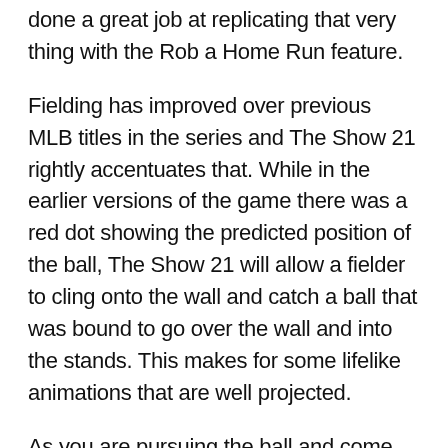done a great job at replicating that very thing with the Rob a Home Run feature.
Fielding has improved over previous MLB titles in the series and The Show 21 rightly accentuates that. While in the earlier versions of the game there was a red dot showing the predicted position of the ball, The Show 21 will allow a fielder to cling onto the wall and catch a ball that was bound to go over the wall and into the stands. This makes for some lifelike animations that are well projected.
As you are pursuing the ball and come against the boundary wall you will see three arrows pop up on the wall itself which will help propel your player over. Click the button prompt R2/RT on PlayStation/XBOX respectively to make your ballplayer cling to the wall